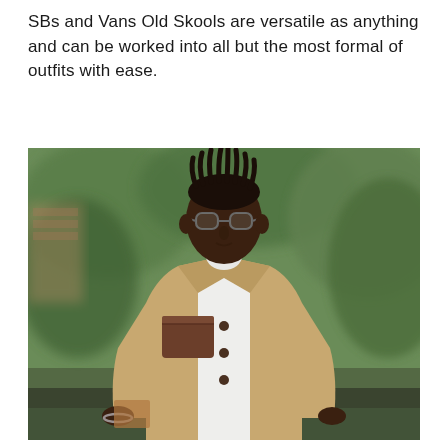SBs and Vans Old Skools are versatile as anything and can be worked into all but the most formal of outfits with ease.
[Figure (photo): Street style photo of a young Black man wearing glasses, a tan/khaki chore coat with a dark brown leather chest pocket over a white t-shirt, standing outdoors with blurred green trees in the background.]